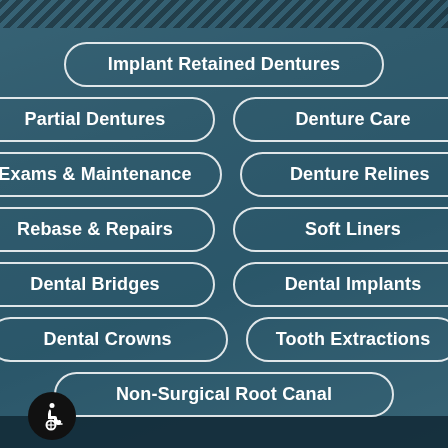Implant Retained Dentures
Partial Dentures
Denture Care
Exams & Maintenance
Denture Relines
Rebase & Repairs
Soft Liners
Dental Bridges
Dental Implants
Dental Crowns
Tooth Extractions
Non-Surgical Root Canal
[Figure (illustration): Wheelchair accessibility icon in a black circle at bottom left]